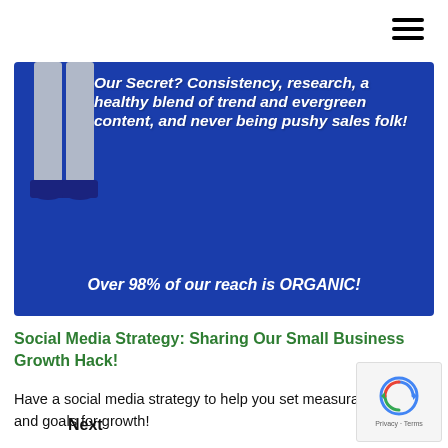[Figure (illustration): Hamburger menu icon (three horizontal lines) in top right corner]
[Figure (infographic): Blue banner with white bold italic text: 'Our Secret? Consistency, research, a healthy blend of trend and evergreen content, and never being pushy sales folk!' and 'Over 98% of our reach is ORGANIC!' with a partial illustration of a person's lower body on the left side.]
Social Media Strategy: Sharing Our Small Business Growth Hack!
Have a social media strategy to help you set measurable tasks and goals for growth!
Next